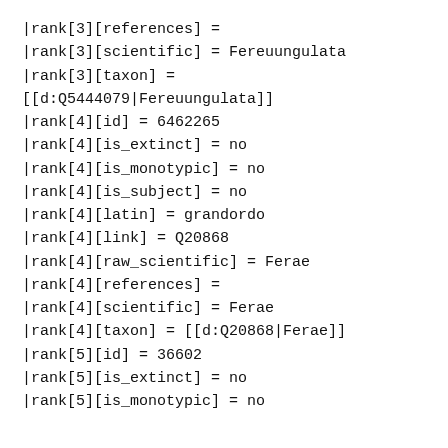|rank[3][references] =
|rank[3][scientific] = Fereuungulata
|rank[3][taxon] =
[[d:Q5444079|Fereuungulata]]
|rank[4][id] = 6462265
|rank[4][is_extinct] = no
|rank[4][is_monotypic] = no
|rank[4][is_subject] = no
|rank[4][latin] = grandordo
|rank[4][link] = Q20868
|rank[4][raw_scientific] = Ferae
|rank[4][references] =
|rank[4][scientific] = Ferae
|rank[4][taxon] = [[d:Q20868|Ferae]]
|rank[5][id] = 36602
|rank[5][is_extinct] = no
|rank[5][is_monotypic] = no